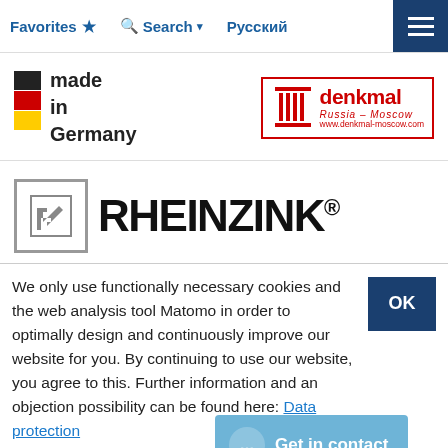Favorites ★  🔍 Search ▾  Русский  ☰
[Figure (logo): Made in Germany logo with German flag stripes (black, red, yellow) and 'made in Germany' text]
[Figure (logo): Denkmal Russia Moscow logo with red column icon and red text]
[Figure (logo): RHEINZINK® logo with grey square icon and bold black text]
We only use functionally necessary cookies and the web analysis tool Matomo in order to optimally design and continuously improve our website for you. By continuing to use our website, you agree to this. Further information and an objection possibility can be found here: Data protection
[Figure (other): Get in contact chat button overlay]